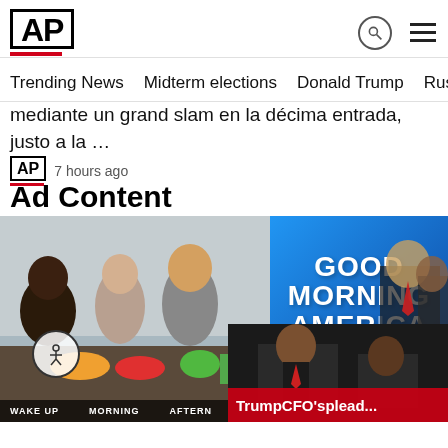AP
Trending News   Midterm elections   Donald Trump   Russia-Ukr
mediante un grand slam en la décima entrada, justo a la …
AP  7 hours ago
Ad Content
[Figure (photo): AP news website screenshot showing a GMA cooking segment photo on the left and Good Morning America logo on the right with a Trump CFO plea video popup overlay]